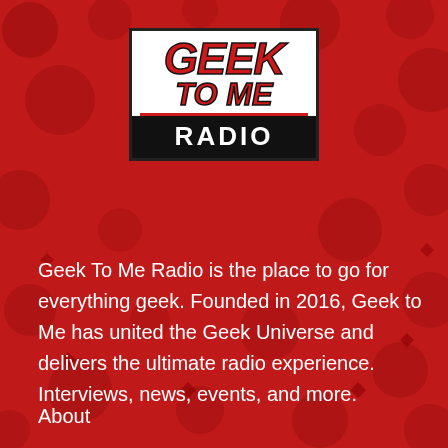[Figure (logo): Geek To Me Radio logo: white box with black border, red italic 'GEEK' text, red italic 'TO ME' text, red horizontal rule, black bar with white bold 'RADIO' text]
Geek To Me Radio is the place to go for everything geek. Founded in 2016, Geek to Me has united the Geek Universe and delivers the ultimate radio experience. Interviews, news, events, and more.
About